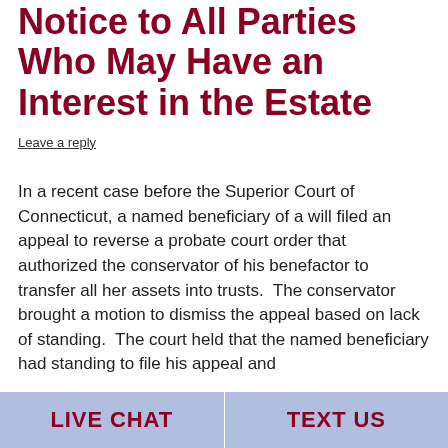Estate Must Provide Notice to All Parties Who May Have an Interest in the Estate
Leave a reply
In a recent case before the Superior Court of Connecticut, a named beneficiary of a will filed an appeal to reverse a probate court order that authorized the conservator of his benefactor to transfer all her assets into trusts.  The conservator brought a motion to dismiss the appeal based on lack of standing.  The court held that the named beneficiary had standing to file his appeal and
LIVE CHAT   TEXT US